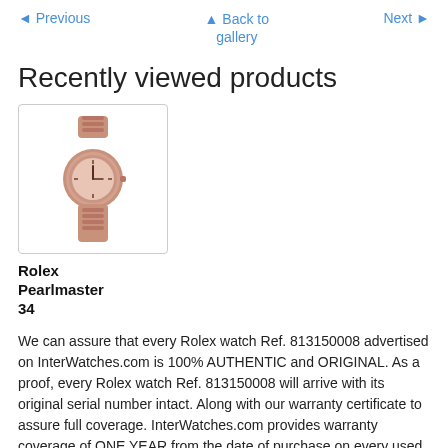◄ Previous   ▲ Back to gallery   Next ►
Recently viewed products
[Figure (photo): Photo of Rolex Pearlmaster 34 watch with rose gold bracelet and dial]
Rolex Pearlmaster 34
We can assure that every Rolex watch Ref. 813150008 advertised on InterWatches.com is 100% AUTHENTIC and ORIGINAL. As a proof, every Rolex watch Ref. 813150008 will arrive with its original serial number intact. Along with our warranty certificate to assure full coverage. InterWatches.com provides warranty coverage of ONE YEAR from the date of purchase on every used Rolexwatch Ref. 813150008. This warranty will assure that